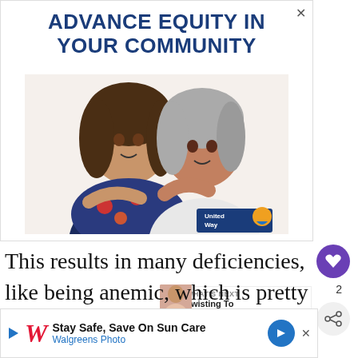[Figure (infographic): Advertisement banner showing two women hugging with text 'ADVANCE EQUITY IN YOUR COMMUNITY' and United Way logo]
This results in many deficiencies, like being anemic, which is pretty standard am pregnant women. When the baby doesn't get en ester.
[Figure (infographic): Walgreens advertisement: Stay Safe, Save On Sun Care - Walgreens Photo]